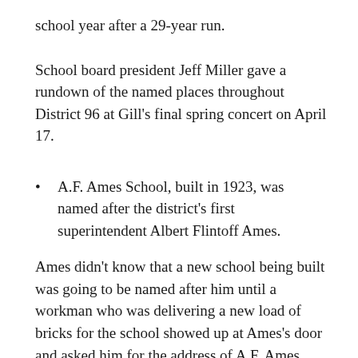school year after a 29-year run.
School board president Jeff Miller gave a rundown of the named places throughout District 96 at Gill's final spring concert on April 17.
A.F. Ames School, built in 1923, was named after the district's first superintendent Albert Flintoff Ames.
Ames didn't know that a new school being built was going to be named after him until a workman who was delivering a new load of bricks for the school showed up at Ames's door and asked him for the address of A.F. Ames School.